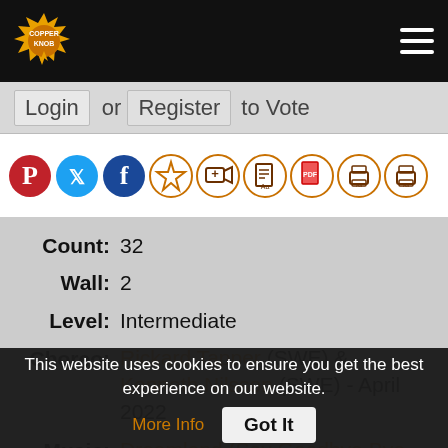Copper Knob logo and hamburger menu
Login or Register to Vote
[Figure (infographic): Row of social share and action icon buttons: Pinterest, Twitter, Facebook, star/favorite, add video, document, PDF, print, print font]
Count: 32
Wall: 2
Level: Intermediate
Choreo: Rickard Tapper (SWE) & Kenneth Nilsson (SWE) - April 2022
Music: Dreamland (Say Goodbye Bye Bye) - Swingrowers
Buy From  Buy From
This website uses cookies to ensure you get the best experience on our website. More Info  Got It